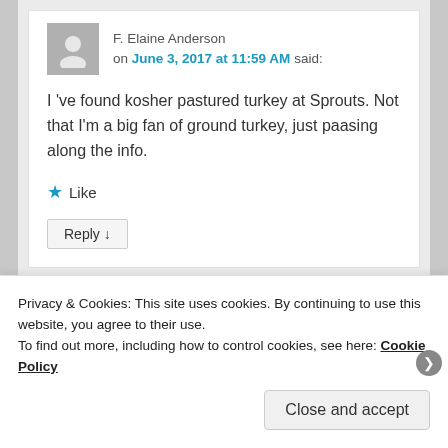F. Elaine Anderson on June 3, 2017 at 11:59 AM said:
I 've found kosher pastured turkey at Sprouts. Not that I'm a big fan of ground turkey, just paasing along the info.
★ Like
Reply ↓
Privacy & Cookies: This site uses cookies. By continuing to use this website, you agree to their use.
To find out more, including how to control cookies, see here: Cookie Policy
Close and accept